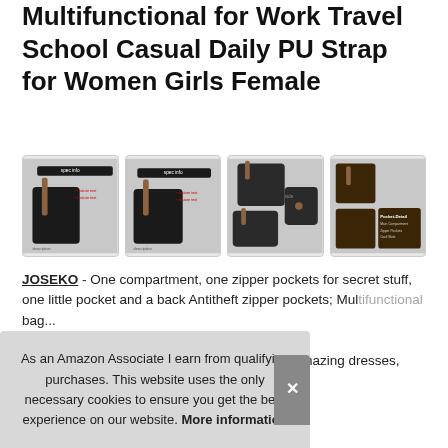Multifunctional for Work Travel School Casual Daily PU Strap for Women Girls Female
[Figure (photo): Four product images showing a black hobo-style backpack/handbag from different angles with feature callouts]
JOSEKO - One compartment, one zipper pockets for secret stuff, one little pocket and a back Antitheft zipper pockets; Multifunctional bag...
As an Amazon Associate I earn from qualifying purchases. This website uses the only necessary cookies to ensure you get the best experience on our website. More information